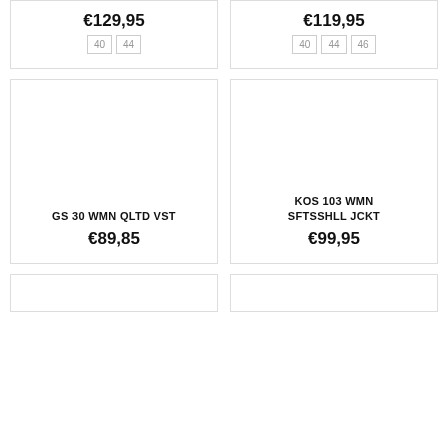€129,95
40 44
€119,95
40 44 46
GS 30 WMN QLTD VST
€89,85
KOS 103 WMN SFTSSHLL JCKT
€99,95